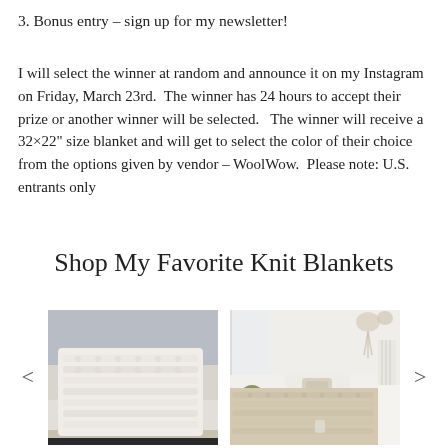3. Bonus entry – sign up for my newsletter!
I will select the winner at random and announce it on my Instagram on Friday, March 23rd.  The winner has 24 hours to accept their prize or another winner will be selected.   The winner will receive a 32×22" size blanket and will get to select the color of their choice from the options given by vendor – WoolWow.  Please note: U.S. entrants only
Shop My Favorite Knit Blankets
[Figure (photo): Carousel of knit blanket product photos: left shows a chunky white knit blanket draped over a white sofa with gray background; right shows a beige chunky knit blanket on a white bed with macrame wall decor. Navigation arrows on each side.]